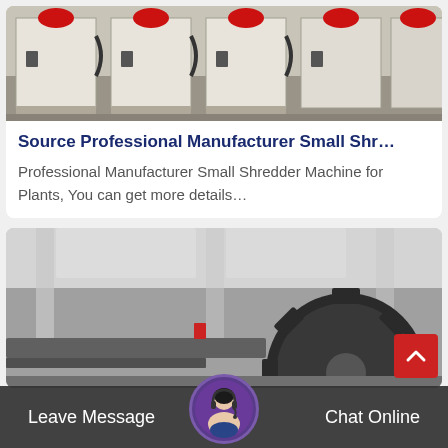[Figure (photo): Row of cream/beige industrial shredder machines with red tops on a factory floor]
Source Professional Manufacturer Small Shr…
Professional Manufacturer Small Shredder Machine for Plants, You can get more details…
[Figure (photo): Industrial factory interior with large gear/cog and machinery, dark tones]
Leave Message
Chat Online